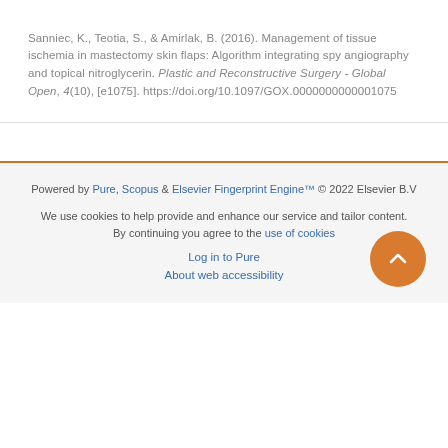Sanniec, K., Teotia, S., & Amirlak, B. (2016). Management of tissue ischemia in mastectomy skin flaps: Algorithm integrating spy angiography and topical nitroglycerin. Plastic and Reconstructive Surgery - Global Open, 4(10), [e1075]. https://doi.org/10.1097/GOX.0000000000001075
Powered by Pure, Scopus & Elsevier Fingerprint Engine™ © 2022 Elsevier B.V
We use cookies to help provide and enhance our service and tailor content. By continuing you agree to the use of cookies
Log in to Pure
About web accessibility